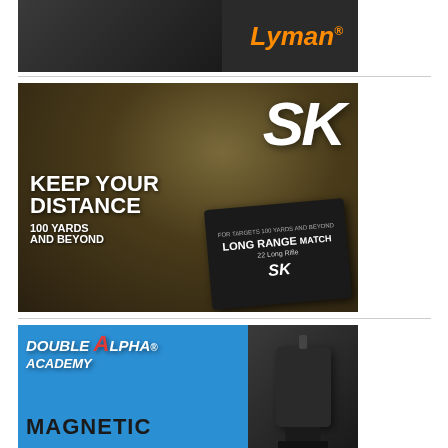[Figure (illustration): Lyman brand advertisement banner showing gun tools/equipment on dark background with orange italic Lyman logo text]
[Figure (illustration): SK ammunition advertisement with dark earthy background, large white SK logo, text reading KEEP YOUR DISTANCE 100 YARDS AND BEYOND, and product box for Long Range Match 22 Long Rifle]
[Figure (illustration): Double Alpha Academy advertisement on blue background with logo text, magnetic product text, and product image of magnetic device on right side]